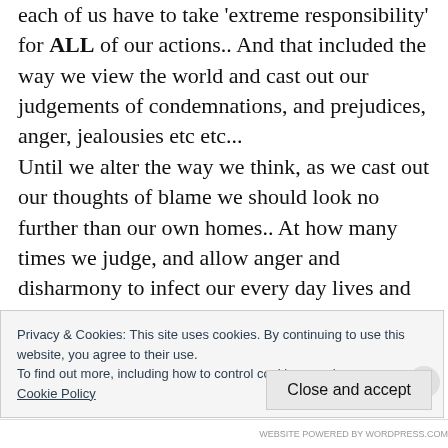each of us have to take 'extreme responsibility' for ALL of our actions.. And that included the way we view the world and cast out our judgements of condemnations, and prejudices, anger, jealousies etc etc... Until we alter the way we think, as we cast out our thoughts of blame we should look no further than our own homes.. At how many times we judge, and allow anger and disharmony to infect our every day lives and families ..
Privacy & Cookies: This site uses cookies. By continuing to use this website, you agree to their use.
To find out more, including how to control cookies, see here:
Cookie Policy
Close and accept
WEBSITE POWERED BY WORDPRESS.COM